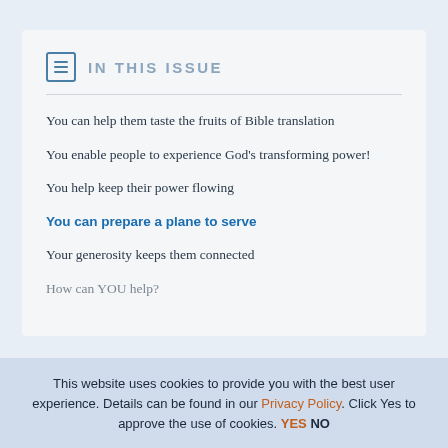IN THIS ISSUE
You can help them taste the fruits of Bible translation
You enable people to experience God's transforming power!
You help keep their power flowing
You can prepare a plane to serve
Your generosity keeps them connected
How can YOU help?
This website uses cookies to provide you with the best user experience. Details can be found in our Privacy Policy. Click Yes to approve the use of cookies. YES NO